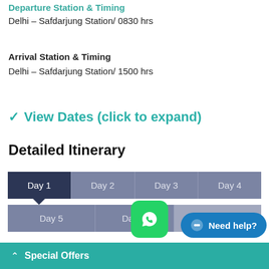Departure Station & Timing
Delhi – Safdarjung Station/ 0830 hrs
Arrival Station & Timing
Delhi – Safdarjung Station/ 1500 hrs
✓ View Dates (click to expand)
Detailed Itinerary
| Day 1 | Day 2 | Day 3 | Day 4 |
| --- | --- | --- | --- |
| Day 5 | Day 6 | Day 7 |  |
Special Offers